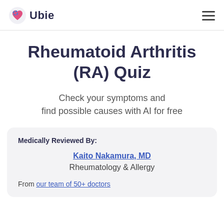Ubie
Rheumatoid Arthritis (RA) Quiz
Check your symptoms and find possible causes with AI for free
Medically Reviewed By: Kaito Nakamura, MD — Rheumatology & Allergy — From our team of 50+ doctors